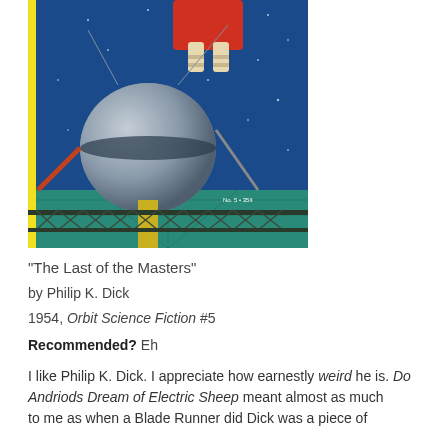[Figure (illustration): Science fiction magazine cover art showing an astronaut in a red rocket/vehicle above a large metallic sphere with a bridge structure below, set against a blue starry sky. Text on cover reads 'No. 5 • 35¢']
“The Last of the Masters”
by Philip K. Dick
1954, Orbit Science Fiction #5
Recommended? Eh
I like Philip K. Dick. I appreciate how earnestly weird he is. Do Andriods Dream of Electric Sheep meant almost as much to me as when a Blade Runner did Dick was a piece of